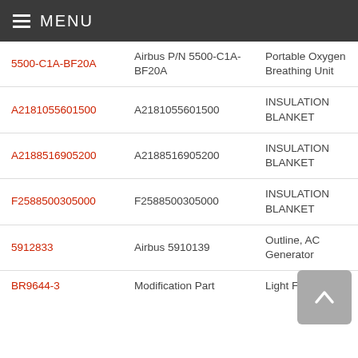MENU
| Part Number | Manufacturer P/N | Description |  |
| --- | --- | --- | --- |
| 5500-C1A-BF20A | Airbus P/N 5500-C1A-BF20A | Portable Oxygen Breathing Unit | A |
| A2181055601500 | A2181055601500 | INSULATION BLANKET | A |
| A2188516905200 | A2188516905200 | INSULATION BLANKET | A |
| F2588500305000 | F2588500305000 | INSULATION BLANKET | A |
| 5912833 | Airbus 5910139 | Outline, AC Generator | A - |
| BR9644-3 | Modification Part | Light Fixture |  |